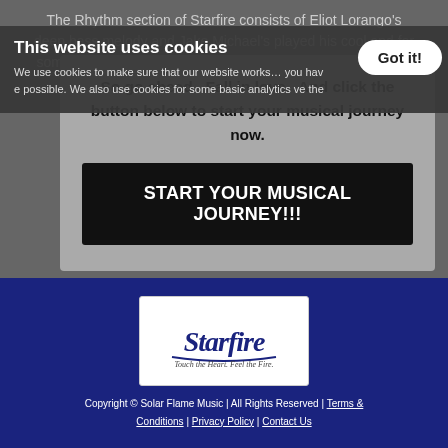The Rhythm section of Starfire consists of Eliot Lorango's deep bass melody and Jake Michael's played his cool and for some basic analytic... up the around the whole of Starfire.
This website uses cookies
We use cookies to make sure that our website works... possible. We also use cookies for some basic analytics...
Got it!
So go ahead.  Fall in love.  And click the button below to start your musical journey now.
START YOUR MUSICAL JOURNEY!!!
[Figure (logo): Starfire band logo — white background with 'Starfire' in navy script lettering and tagline 'Touch the Heart. Feel the Fire.']
Copyright © Solar Flame Music | All Rights Reserved | Terms & Conditions | Privacy Policy | Contact Us